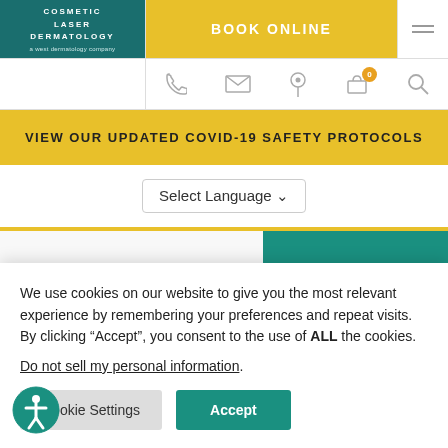[Figure (logo): Cosmetic Laser Dermatology logo in teal box with white text]
BOOK ONLINE
VIEW OUR UPDATED COVID-19 SAFETY PROTOCOLS
Select Language
InstaBreast with
We use cookies on our website to give you the most relevant experience by remembering your preferences and repeat visits. By clicking “Accept”, you consent to the use of ALL the cookies.
Do not sell my personal information.
Cookie Settings
Accept